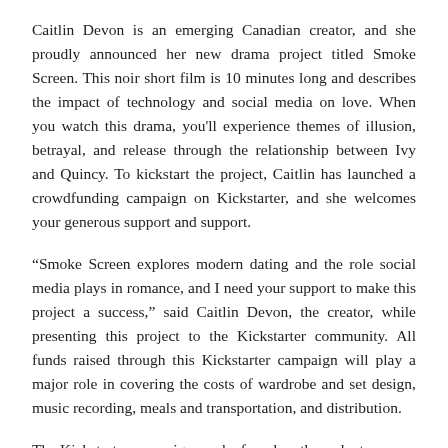Caitlin Devon is an emerging Canadian creator, and she proudly announced her new drama project titled Smoke Screen. This noir short film is 10 minutes long and describes the impact of technology and social media on love. When you watch this drama, you'll experience themes of illusion, betrayal, and release through the relationship between Ivy and Quincy. To kickstart the project, Caitlin has launched a crowdfunding campaign on Kickstarter, and she welcomes your generous support and support.
“Smoke Screen explores modern dating and the role social media plays in romance, and I need your support to make this project a success,” said Caitlin Devon, the creator, while presenting this project to the Kickstarter community. All funds raised through this Kickstarter campaign will play a major role in covering the costs of wardrobe and set design, music recording, meals and transportation, and distribution.
The Kickstarter campaign can be found on the web at:
www.kickstarter.com/projects/caitlin-devon/smoke-screen  and you can be part of this project by making generous pledges and